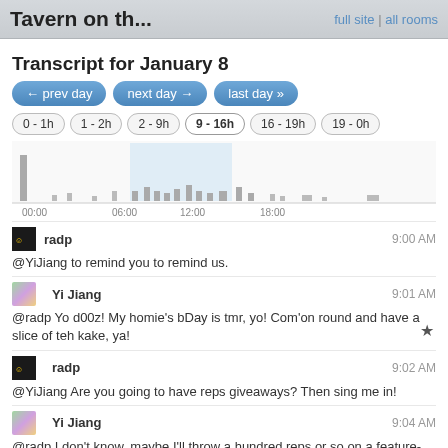Tavern on th... | full site | all rooms
Transcript for January 8
← prev day | next day → | last day »
0 - 1h | 1 - 2h | 2 - 9h | 9 - 16h | 16 - 19h | 19 - 0h
[Figure (bar-chart): Bar chart showing message activity throughout the day with highlighted region around 9-16h]
radp  9:00 AM
@YiJiang to remind you to remind us.
Yi Jiang  9:01 AM
@radp Yo d00z! My homie's bDay is tmr, yo! Com'on round and have a slice of teh kake, ya!
radp  9:02 AM
@YiJiang Are you going to have reps giveaways? Then sing me in!
Yi Jiang  9:04 AM
@radp I don't know, maybe I'll throw a hundred reps or so on a feature-req or a bug that needs fixing
Oh look, they took SE offline. Hmmm... back up again. That was fast